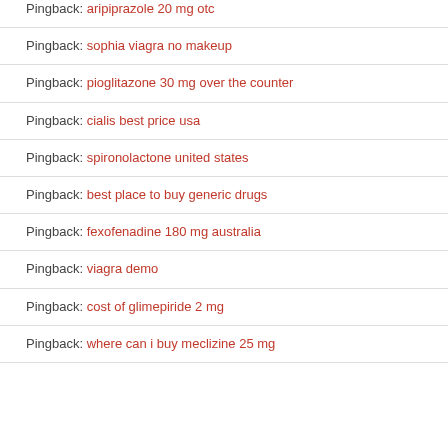Pingback: aripiprazole 20 mg otc
Pingback: sophia viagra no makeup
Pingback: pioglitazone 30 mg over the counter
Pingback: cialis best price usa
Pingback: spironolactone united states
Pingback: best place to buy generic drugs
Pingback: fexofenadine 180 mg australia
Pingback: viagra demo
Pingback: cost of glimepiride 2 mg
Pingback: where can i buy meclizine 25 mg